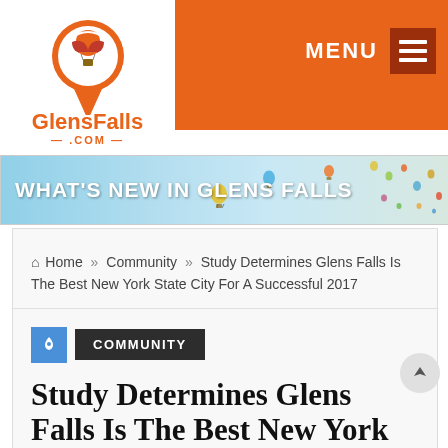[Figure (logo): GlensFalls.com logo with hot air balloon map pin icon]
MENU navigation header bar with orange background
[Figure (illustration): Banner with hot air balloons and text WHAT'S NEW IN GLENS FALLS]
Home » Community » Study Determines Glens Falls Is The Best New York State City For A Successful 2017
COMMUNITY
Study Determines Glens Falls Is The Best New York State City